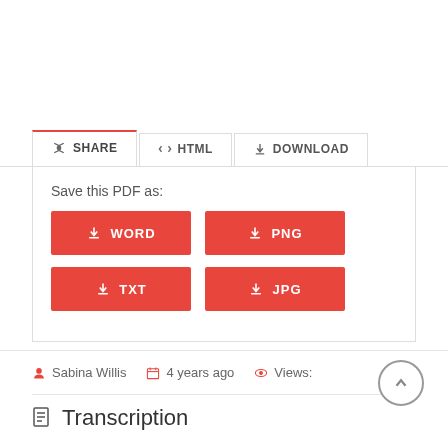[Figure (screenshot): Web UI with tabs: SHARE (active), HTML, DOWNLOAD. Content area shows 'Save this PDF as:' with four orange download buttons: WORD, PNG, TXT, JPG.]
Save this PDF as:
WORD
PNG
TXT
JPG
Sabina Willis   4 years ago   Views:
Transcription